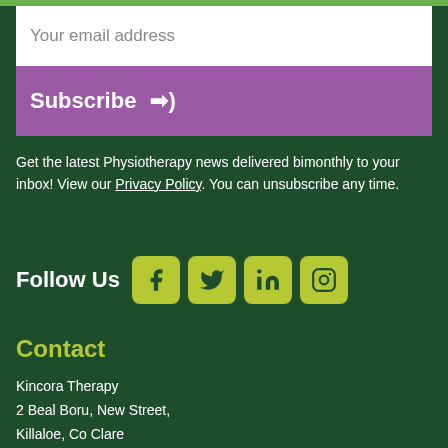Your email address
Subscribe →)
Get the latest Physiotherapy news delivered bimonthly to your inbox! View our Privacy Policy. You can unsubscribe any time.
Follow Us
[Figure (infographic): Social media icons: Facebook, Twitter, LinkedIn, Instagram in yellow-green boxes]
Contact
Kincora Therapy
2 Beal Boru, New Street,
Killaloe, Co Clare
V94 HDR6, Ireland